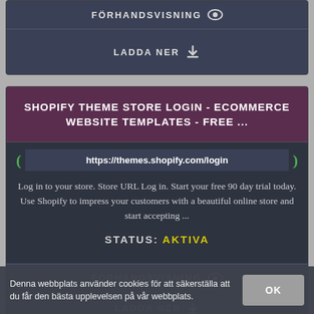FÖRHANDSVISNING
LADDA NER
SHOPIFY THEME STORE LOGIN - ECOMMERCE WEBSITE TEMPLATES - FREE ...
https://themes.shopify.com/login
Log in to your store. Store URL Log in. Start your free 90 day trial today. Use Shopify to impress your customers with a beautiful online store and start accepting ...
STATUS: AKTIVA
FÖRHANDSVISNING
LADDA NER
Denna webbplats använder cookies för att säkerställa att du får den bästa upplevelsen på vår webbplats.